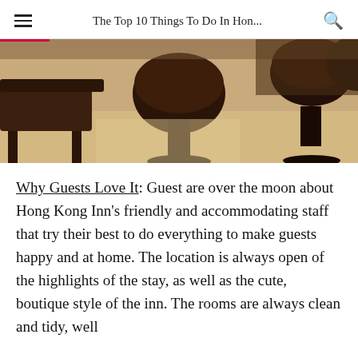The Top 10 Things To Do In Hon...
[Figure (photo): Interior photo of a cafe or bar with dark wooden bar stools and tables on a light floor]
Why Guests Love It: Guest are over the moon about Hong Kong Inn's friendly and accommodating staff that try their best to do everything to make guests happy and at home. The location is always open of the highlights of the stay, as well as the cute, boutique style of the inn. The rooms are always clean and tidy, well